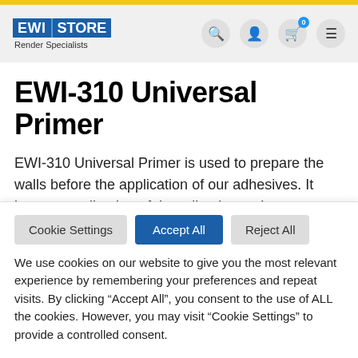EWI STORE Render Specialists
EWI-310 Universal Primer
EWI-310 Universal Primer is used to prepare the walls before the application of our adhesives. It improves adhesion of the adhesive to the substrate, facilitating application and
Cookie Settings | Accept All | Reject All
We use cookies on our website to give you the most relevant experience by remembering your preferences and repeat visits. By clicking “Accept All”, you consent to the use of ALL the cookies. However, you may visit “Cookie Settings” to provide a controlled consent.